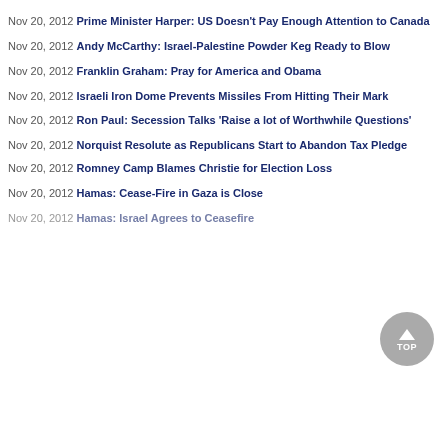Nov 20, 2012 Prime Minister Harper: US Doesn't Pay Enough Attention to Canada
Nov 20, 2012 Andy McCarthy: Israel-Palestine Powder Keg Ready to Blow
Nov 20, 2012 Franklin Graham: Pray for America and Obama
Nov 20, 2012 Israeli Iron Dome Prevents Missiles From Hitting Their Mark
Nov 20, 2012 Ron Paul: Secession Talks 'Raise a lot of Worthwhile Questions'
Nov 20, 2012 Norquist Resolute as Republicans Start to Abandon Tax Pledge
Nov 20, 2012 Romney Camp Blames Christie for Election Loss
Nov 20, 2012 Hamas: Cease-Fire in Gaza is Close
Nov 20, 2012 Hamas: Israel Agrees to Ceasefire